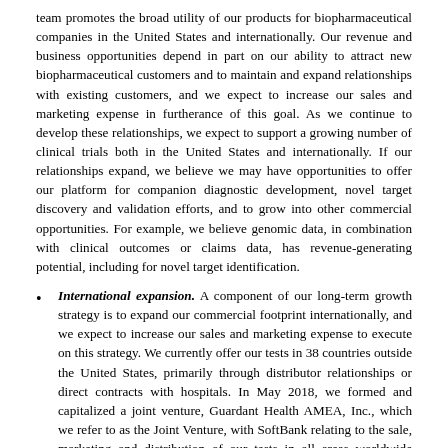team promotes the broad utility of our products for biopharmaceutical companies in the United States and internationally. Our revenue and business opportunities depend in part on our ability to attract new biopharmaceutical customers and to maintain and expand relationships with existing customers, and we expect to increase our sales and marketing expense in furtherance of this goal. As we continue to develop these relationships, we expect to support a growing number of clinical trials both in the United States and internationally. If our relationships expand, we believe we may have opportunities to offer our platform for companion diagnostic development, novel target discovery and validation efforts, and to grow into other commercial opportunities. For example, we believe genomic data, in combination with clinical outcomes or claims data, has revenue-generating potential, including for novel target identification.
International expansion. A component of our long-term growth strategy is to expand our commercial footprint internationally, and we expect to increase our sales and marketing expense to execute on this strategy. We currently offer our tests in 38 countries outside the United States, primarily through distributor relationships or direct contracts with hospitals. In May 2018, we formed and capitalized a joint venture, Guardant Health AMEA, Inc., which we refer to as the Joint Venture, with SoftBank relating to the sale, marketing and distribution of our tests in all areas worldwide outside of North America, Central America, South America, the United Kingdom, all other member states of the European Union as of May 2017, Iceland, Norway, Switzerland and Turkey, or the JV Territory. Depending on the market opportunity in a country, the Joint Venture may create direct operations, sell through a distribution model or license to a third party. Direct operations would entail full operations including a laboratory, sales and marketing and customer support and other functions needed to deliver the